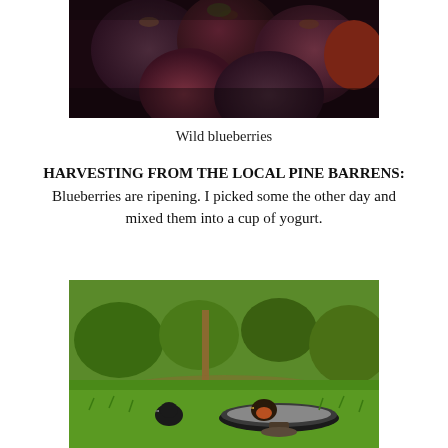[Figure (photo): Close-up photo of dark wild blueberries with reddish tones, filling the frame]
Wild blueberries
HARVESTING FROM THE LOCAL PINE BARRENS: Blueberries are ripening. I picked some the other day and mixed them into a cup of yogurt.
[Figure (photo): Outdoor photo of two robins on green grass near a bird bath, with trees and garden in the background]